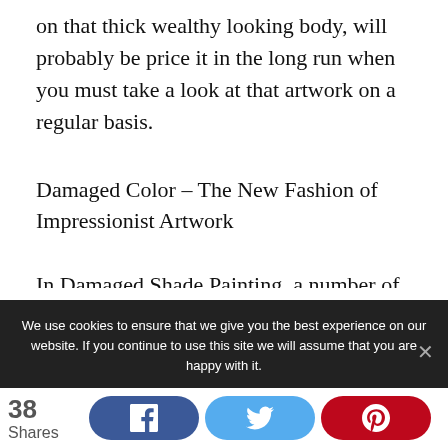on that thick wealthy looking body, will probably be price it in the long run when you must take a look at that artwork on a regular basis.
Damaged Color – The New Fashion of Impressionist Artwork
In Damaged Shade Painting, a number of shades of paints are utilized in damaged layers to impart an interesting look to a floor. Largely used for interior walls, this technique yields a painted
We use cookies to ensure that we give you the best experience on our website. If you continue to use this site we will assume that you are happy with it.
38 Shares